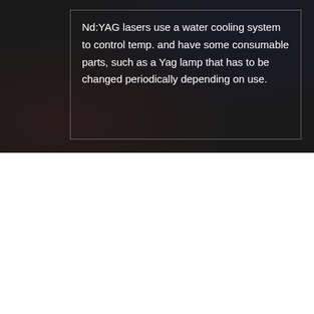Nd:YAG lasers use a water cooling system to control temp. and have some consumable parts, such as a Yag lamp that has to be changed periodically depending on use.
Compare Models:
| YAG 60 W |
| YAG 120 W |
| FSS 150 W |